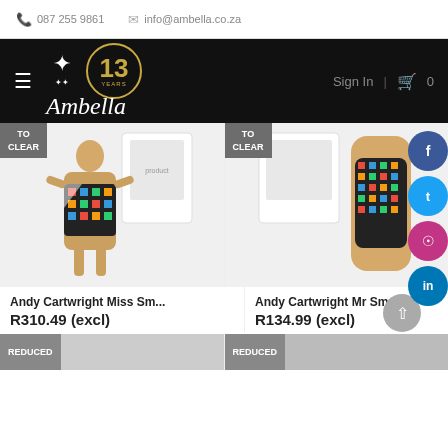087 255 9861  info@ambella.co.za
[Figure (logo): Ambella logo with decorative crest, script text 'Ambella', and '13 Years' badge in gold circle on black background. Navigation with Sign In and cart icon.]
[Figure (photo): Andy Cartwright Miss Sm... product - wooden female figurine with colorful African print fabric, TO CLEAR badge]
Andy Cartwright Miss Sm...
R310.49 (excl)
[Figure (photo): Andy Cartwright Mr Sma... product - wooden tie/paddle shape with colorful African print, TO CLEAR badge]
Andy Cartwright Mr Sma...
R134.99 (excl)
REDUCED
REDUCED